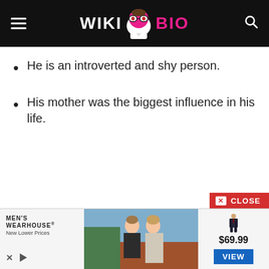WIKI BIO
He is an introverted and shy person.
His mother was the biggest influence in his life.
[Figure (screenshot): Men's Wearhouse advertisement banner showing a couple in formal wear and a suit at $69.99 with a VIEW button]